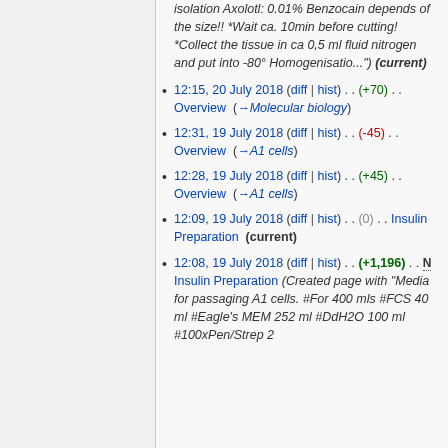...isolation  Axolotl: 0.01% Benzocain depends of the size!! *Wait ca. 10min before cutting! *Collect the tissue in ca 0,5 ml fluid nitrogen and put into -80° Homogenisatio...") (current)
12:15, 20 July 2018 (diff | hist) . . (+70) . . Overview  (→Molecular biology)
12:31, 19 July 2018 (diff | hist) . . (-45) . . Overview  (→A1 cells)
12:28, 19 July 2018 (diff | hist) . . (+45) . . Overview  (→A1 cells)
12:09, 19 July 2018 (diff | hist) . . (0) . . Insulin Preparation  (current)
12:08, 19 July 2018 (diff | hist) . . (+1,196) . . N Insulin Preparation (Created page with "Media for passaging A1 cells. #For 400 mls #FCS 40 ml #Eagle's MEM 252 ml #DdH2O 100 ml #100xPen/Strep 2